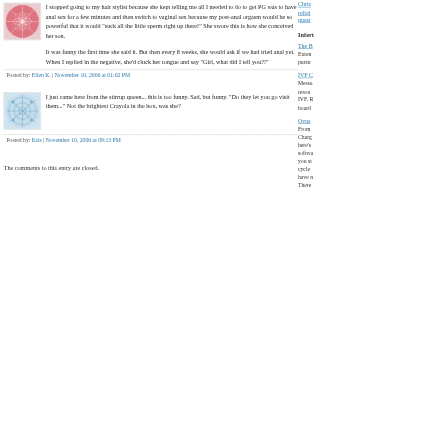[Figure (illustration): Red/pink abstract floral avatar image for commenter Ellen K.]
I stopped going to my hair stylist because she kept telling me all I needed to do to get PG was to have anal sex for a few minutes and then switch to vaginal sex because my post-anal orgasm would be so powerful that it would "suck all the little sperm right up there!" She swore this is how she conceived her son.

It was funny the first time she said it. But then every 8 weeks, she would ask if we had tried anal yet. When I replied in the negative, she'd cluck her tongue and say "Girl, what did I tell you?!"
Posted by: Ellen K. | November 10, 2006 at 01:02 PM
[Figure (illustration): Blue/teal abstract network pattern avatar image for commenter Kris]
I just came here from the stirrup queen... this is too funny. Sad, but funny. "Do they let you go visit them..." Not the brightest Crayola in the box, was she?
Posted by: Kris | November 10, 2006 at 09:13 PM
The comments to this entry are closed.
Infert
The B
Exten
pursu
IVF C
Messa
resou
IVF. R
board
Ovus
From
Charg
here's
softwa
you st
cycle
have n
There